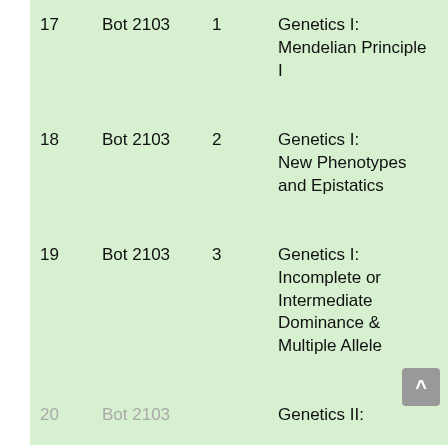| # | Course | Lecture | Topic |
| --- | --- | --- | --- |
| 17 | Bot 2103 | 1 | Genetics I: Mendelian Principle I |
| 18 | Bot 2103 | 2 | Genetics I: New Phenotypes and Epistatics |
| 19 | Bot 2103 | 3 | Genetics I: Incomplete or Intermediate Dominance & Multiple Allele |
| 20 | Bot 2103 | 4 | Genetics II: [Identification of...] |